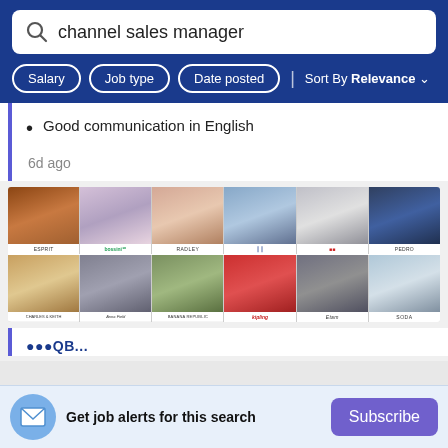channel sales manager
Good communication in English
6d ago
[Figure (other): Brand advertising grid showing 12 fashion/retail brand images in two rows: ESPRIT, bossini, RADLEY, GAP, ZWILLING, Pedro (top row); CHARLES & KEITH, Anna Field, BANANA REPUBLIC, Kipling, Etam, SODA (bottom row)]
Get job alerts for this search
Subscribe